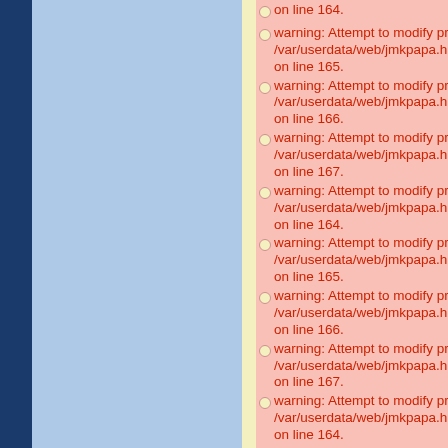warning: Attempt to modify property /var/userdata/web/jmkpapa.hu/web on line 164.
warning: Attempt to modify property /var/userdata/web/jmkpapa.hu/web on line 165.
warning: Attempt to modify property /var/userdata/web/jmkpapa.hu/web on line 166.
warning: Attempt to modify property /var/userdata/web/jmkpapa.hu/web on line 167.
warning: Attempt to modify property /var/userdata/web/jmkpapa.hu/web on line 164.
warning: Attempt to modify property /var/userdata/web/jmkpapa.hu/web on line 165.
warning: Attempt to modify property /var/userdata/web/jmkpapa.hu/web on line 166.
warning: Attempt to modify property /var/userdata/web/jmkpapa.hu/web on line 167.
warning: Attempt to modify property /var/userdata/web/jmkpapa.hu/web on line 164.